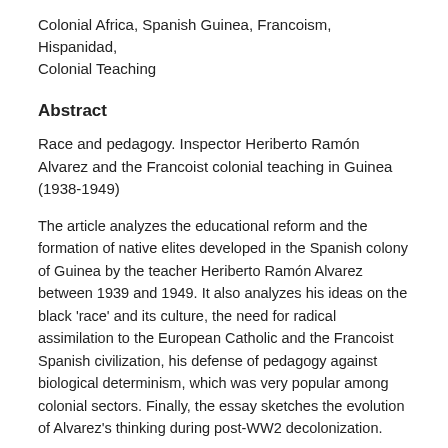Colonial Africa, Spanish Guinea, Francoism, Hispanidad, Colonial Teaching
Abstract
Race and pedagogy. Inspector Heriberto Ramón Alvarez and the Francoist colonial teaching in Guinea (1938-1949)
The article analyzes the educational reform and the formation of native elites developed in the Spanish colony of Guinea by the teacher Heriberto Ramón Alvarez between 1939 and 1949. It also analyzes his ideas on the black 'race' and its culture, the need for radical assimilation to the European Catholic and the Francoist Spanish civilization, his defense of pedagogy against biological determinism, which was very popular among colonial sectors. Finally, the essay sketches the evolution of Alvarez's thinking during post-WW2 decolonization.